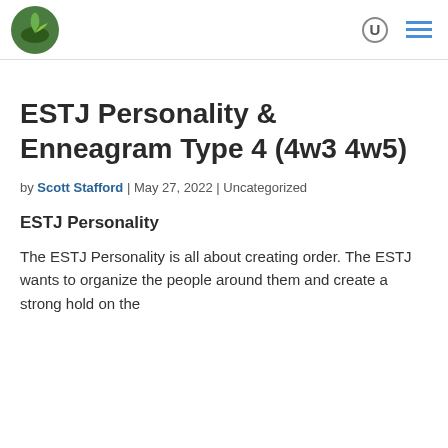ESTJ Personality & Enneagram Type 4 (4w3 4w5)
by Scott Stafford | May 27, 2022 | Uncategorized
ESTJ Personality
The ESTJ Personality is all about creating order. The ESTJ wants to organize the people around them and create a strong hold on the